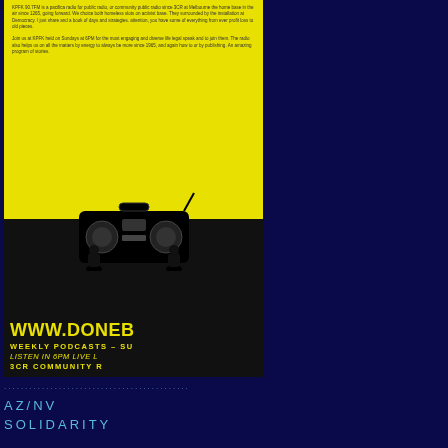[Figure (illustration): Yellow and black poster with boombox graphic showing WWW.DONEB... text, WEEKLY PODCASTS - SU..., LISTEN IN 6PM LIVE..., 3CR COMMUNITY R...]
............................................
AZ/NV
SOLIDARITY
[Figure (photo): Photo of a blue bird (bluebird) perched, with NevadaPrisonWatc... text visible at bottom]
Support Arizona